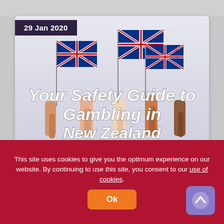[Figure (photo): Hero image showing multiple hands raised holding New Zealand flags on a white background, with large white italic text overlay reading 'Your Safety Guide to Gambling in New Zealand']
29 Jan 2020
Your Safety Guide to Gambling in New Zealand
This site uses cookies to give you the optimum experience on our website. By continuing to use this site, you consent to our use of cookies.
Ok